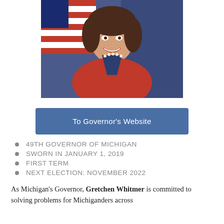[Figure (photo): Official portrait of Gretchen Whitmer, Michigan Governor, wearing a red blazer over a navy top with a pearl necklace, with an American flag in the background.]
To Governor's Website
49TH GOVERNOR OF MICHIGAN
SWORN IN JANUARY 1, 2019
FIRST TERM
NEXT ELECTION: NOVEMBER 2022
As Michigan's Governor, Gretchen Whitmer is committed to solving problems for Michiganders across